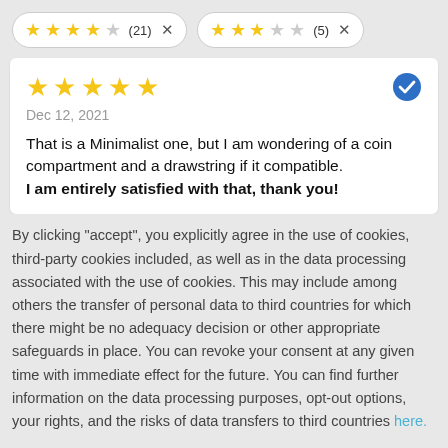[Figure (infographic): Two rating filter pills: first shows 4 filled stars + 1 empty star with count (21) and X button; second shows 3 filled stars + 2 empty stars with count (5) and X button]
[Figure (infographic): Review card with 5 gold stars, a blue verified checkmark badge, date Dec 12 2021, and review text]
That is a Minimalist one, but I am wondering of a coin compartment and a drawstring if it compatible.
I am entirely satisfied with that, thank you!
By clicking "accept", you explicitly agree in the use of cookies, third-party cookies included, as well as in the data processing associated with the use of cookies. This may include among others the transfer of personal data to third countries for which there might be no adequacy decision or other appropriate safeguards in place. You can revoke your consent at any given time with immediate effect for the future. You can find further information on the data processing purposes, opt-out options, your rights, and the risks of data transfers to third countries here.
ACCEPT